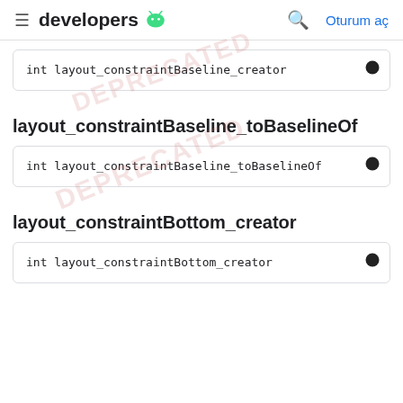developers | Oturum aç
int layout_constraintBaseline_creator
layout_constraintBaseline_toBaselineOf
int layout_constraintBaseline_toBaselineOf
layout_constraintBottom_creator
int layout_constraintBottom_creator